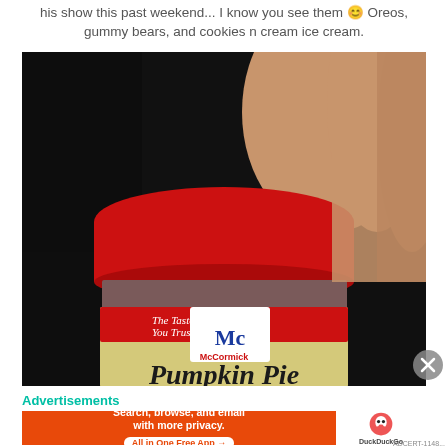his show this past weekend... I know you see them 😊 Oreos, gummy bears, and cookies n cream ice cream.
[Figure (photo): A hand holding a small McCormick spice jar with a red lid. The label reads 'The Taste You Trust™' with the McCormick logo and 'Pumpkin Pie' visible at the bottom of the label.]
Advertisements
[Figure (screenshot): DuckDuckGo advertisement banner: 'Search, browse, and email with more privacy. All in One Free App' on orange background with DuckDuckGo duck logo on white right panel.]